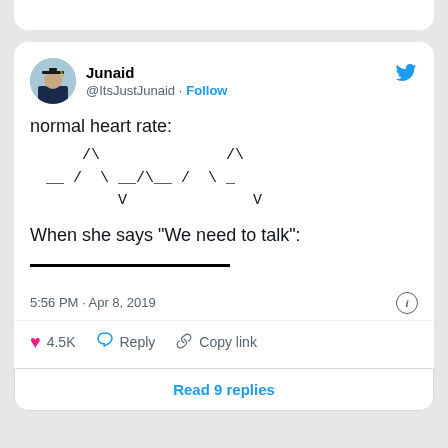[Figure (screenshot): Twitter/X tweet screenshot from user Junaid (@ItsJustJunaid) showing a heart rate meme. Normal heart rate shown as ECG ASCII art, then 'When she says "We need to talk":' followed by a flat line. Posted 5:56 PM Apr 8, 2019. 4.5K likes.]